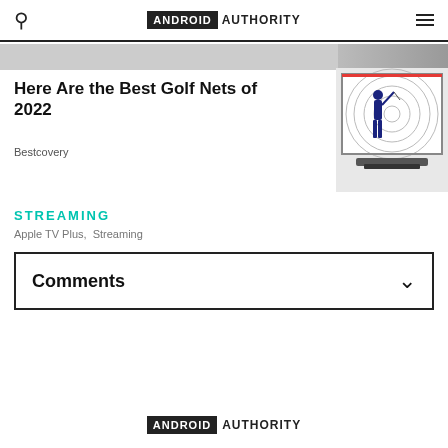ANDROID AUTHORITY
[Figure (photo): Partial image strip at top of page, cropped content]
Here Are the Best Golf Nets of 2022
Bestcovery
[Figure (photo): Golf player swinging at a golf net/practice net]
STREAMING
Apple TV Plus,  Streaming
Comments
ANDROID AUTHORITY